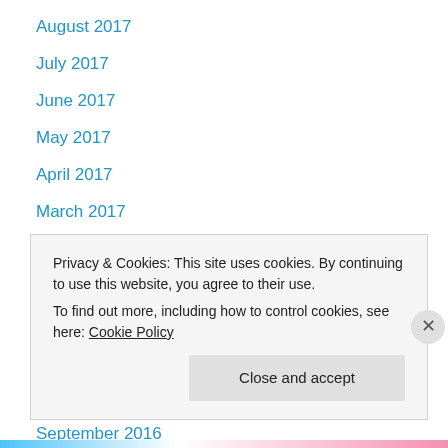August 2017
July 2017
June 2017
May 2017
April 2017
March 2017
February 2017
January 2017
December 2016
November 2016
October 2016
September 2016
August 2016
Privacy & Cookies: This site uses cookies. By continuing to use this website, you agree to their use.
To find out more, including how to control cookies, see here: Cookie Policy